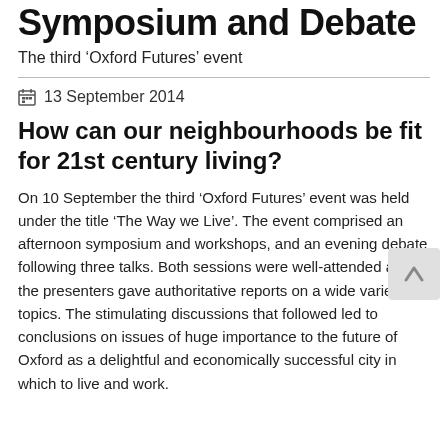Symposium and Debate
The third ‘Oxford Futures’ event
13 September 2014
How can our neighbourhoods be fit for 21st century living?
On 10 September the third ‘Oxford Futures’ event was held under the title ‘The Way we Live’. The event comprised an afternoon symposium and workshops, and an evening debate following three talks. Both sessions were well-attended and all the presenters gave authoritative reports on a wide variety of topics. The stimulating discussions that followed led to conclusions on issues of huge importance to the future of Oxford as a delightful and economically successful city in which to live and work.